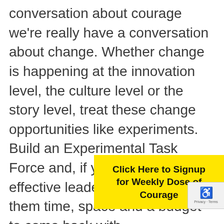conversation about courage we're really have a conversation about change. Whether change is happening at the innovation level, the culture level or the story level, treat these change opportunities like experiments. Build an Experimental Task Force and, if you're in an effective leadership role, grant them time, space and a budget to come back with recommendations on these experiments. budget for ex planning (ma those experiments with promise, doub down with more resources. Remember,
[Figure (other): Yellow call-to-action box overlaying the text, reading 'Click Here to Signup for Weekly Dose of Courage' in bold black text on yellow background]
[Figure (other): reCAPTCHA privacy badge in bottom right corner showing reCAPTCHA logo with 'Privacy - Terms' text]